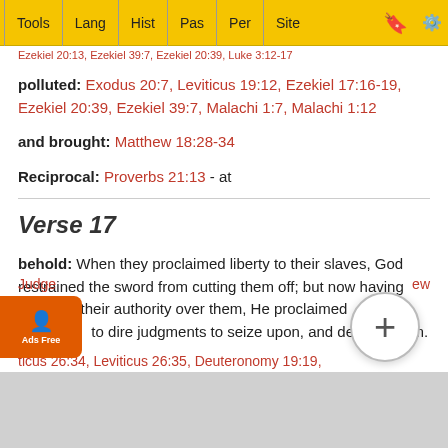Tools | Lang | Hist | Pas | Per | Site
Ezekiel 20:13, Ezekiel 39:7, Ezekiel 20:39, Luke 3:12-17
polluted: Exodus 20:7, Leviticus 19:12, Ezekiel 17:16-19, Ezekiel 20:39, Ezekiel 39:7, Malachi 1:7, Malachi 1:12
and brought: Matthew 18:28-34
Reciprocal: Proverbs 21:13 - at
Verse 17
behold: When they proclaimed liberty to their slaves, God restrained the sword from cutting them off; but now having resumed their authority over them, He proclaimed liberty to dire judgments to seize upon, and destroy them.
Leviticus 26:34, Leviticus 26:35, Deuteronomy 19:19, Judges ... Matthew 7:2, Luke ... Revelation ...